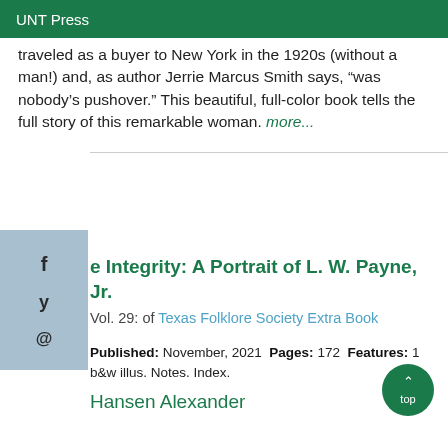UNT Press
traveled as a buyer to New York in the 1920s (without a man!) and, as author Jerrie Marcus Smith says, “was nobody’s pushover.” This beautiful, full-color book tells the full story of this remarkable woman. more...
e Integrity: A Portrait of L. W. Payne, Jr.
Vol. 29: of Texas Folklore Society Extra Book
Published: November, 2021  Pages: 172  Features: 1 b&w illus. Notes. Index.
Hansen Alexander